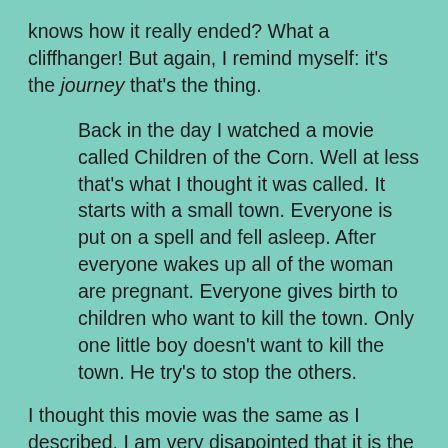knows how it really ended? What a cliffhanger! But again, I remind myself: it's the journey that's the thing.
Back in the day I watched a movie called Children of the Corn. Well at less that's what I thought it was called. It starts with a small town. Everyone is put on a spell and fell asleep. After everyone wakes up all of the woman are pregnant. Everyone gives birth to children who want to kill the town. Only one little boy doesn't want to kill the town. He try's to stop the others.
I thought this movie was the same as I described. I am very disapointed that it is the wrong movie. I really really want the other Children of the Corn movie. There are way too many Children of the Corn for me to find the one I am looking for. If any one reads this and knows what movie I am talking about message me. I hope there is a way to message me. Well since I was so unhappy with this movie I didn't really give it a chance and was in the middle of watching